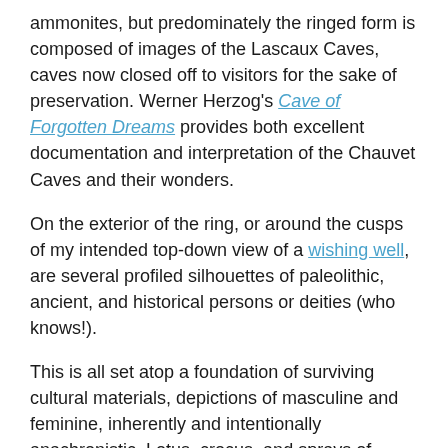ammonites, but predominately the ringed form is composed of images of the Lascaux Caves, caves now closed off to visitors for the sake of preservation. Werner Herzog's Cave of Forgotten Dreams provides both excellent documentation and interpretation of the Chauvet Caves and their wonders.
On the exterior of the ring, or around the cusps of my intended top-down view of a wishing well, are several profiled silhouettes of paleolithic, ancient, and historical persons or deities (who knows!).
This is all set atop a foundation of surviving cultural materials, depictions of masculine and feminine, inherently and intentionally anachronistic. Lotus, crocus, and sprays of blackberries and pearls support this liminal portal, set atop an image of Coastal France, where the earth, sea, and sky comingle. Yet the Magdalenian Sea has long ago been swept away among oceans of time.